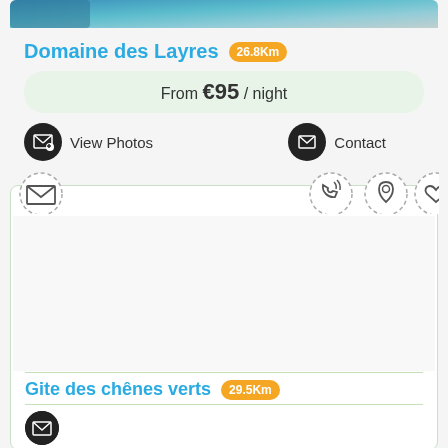[Figure (photo): Pool/water image at top of first listing card]
Domaine des Layres 26.8Km
From €95 / night
View Photos
Contact
[Figure (screenshot): Second listing card with icon toolbar and image area, partially cropped]
Gite des chênes verts 29.5Km